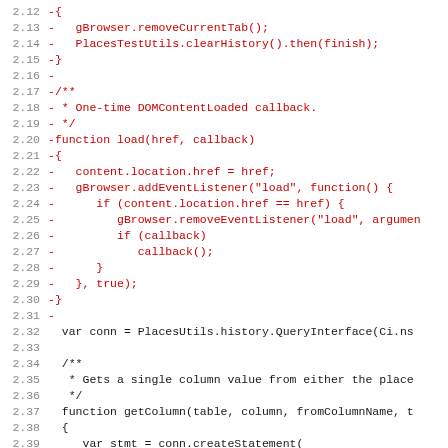Code diff showing removed lines (red) and context lines (black/purple) for a JavaScript file, lines 2.12 through 2.43